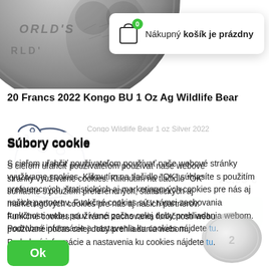[Figure (photo): Top portion of a silver coin showing partial text WORLD and animal engraving, in greyscale]
[Figure (screenshot): Shopping cart popup showing empty cart icon with green badge 0 and text Nákupný košík je prázdny]
20 Francs 2022 Kongo BU 1 Oz Ag Wildlife Bear
[Figure (illustration): Cookie icon illustration - a round cookie with bite taken out and chocolate chips]
29,95 €
Súbory cookie
S cieľom uľahčiť používateľom používať naše webové stránky využívame cookies. Kliknutím na tlačidlo "OK" súhlasíte s použitím preferencných, štatistických aj marketingových cookies pre nás aj našich partnerov. Funkčné cookies sú v rámci zachovania funkčnosti webu používané počas celej doby prehliadania webom. Podrobné informácie a nastavenia ku cookies nájdete tu.
Ok